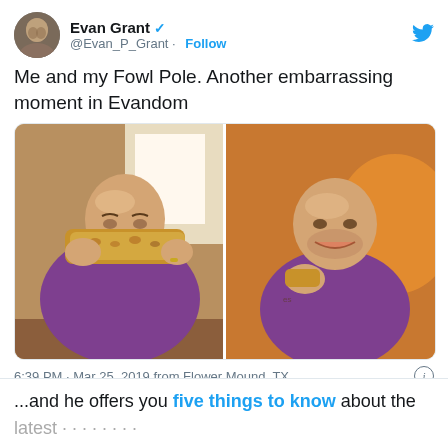[Figure (screenshot): Twitter/X screenshot showing a tweet by Evan Grant (@Evan_P_Grant) with two photos of a bald man eating a large fried chicken strip (Fowl Pole). Tweet text: 'Me and my Fowl Pole. Another embarrassing moment in Evandom'. Posted 6:39 PM · Mar 25, 2019 from Flower Mound, TX.]
...and he offers you five things to know about the latest...